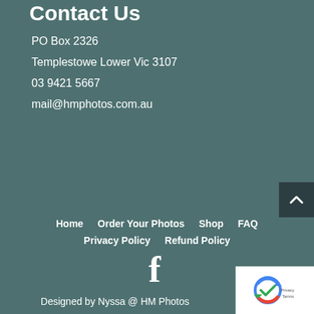Contact Us
PO Box 2326
Templestowe Lower Vic 3107
03 9421 5667
mail@hmphotos.com.au
Home   Order Your Photos   Shop   FAQ   Privacy Policy   Refund Policy
[Figure (logo): Facebook 'f' icon]
Designed by Nyssa @ HM Photos
[Figure (other): Scroll to top button with upward arrow]
[Figure (other): reCAPTCHA badge showing Privacy - Terms]